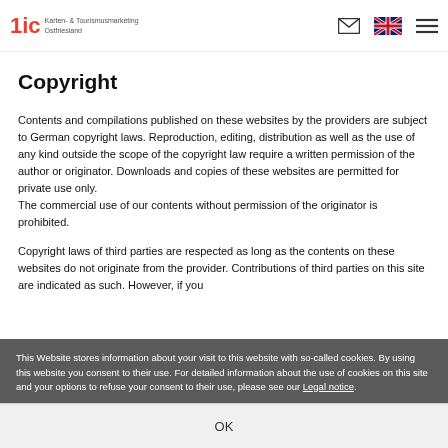1ic Karten- & Tourismusmarketing Ostfriesland [logo] [envelope icon] [UK flag] [menu icon]
Copyright
Contents and compilations published on these websites by the providers are subject to German copyright laws. Reproduction, editing, distribution as well as the use of any kind outside the scope of the copyright law require a written permission of the author or originator. Downloads and copies of these websites are permitted for private use only.
The commercial use of our contents without permission of the originator is prohibited.
Copyright laws of third parties are respected as long as the contents on these websites do not originate from the provider. Contributions of third parties on this site are indicated as such. However, if you
This Website stores information about your visit to this website with so-called cookies. By using this website you consent to their use. For detailed information about the use of cookies on this site and your options to refuse your consent to their use, please see our Legal notice.
OK